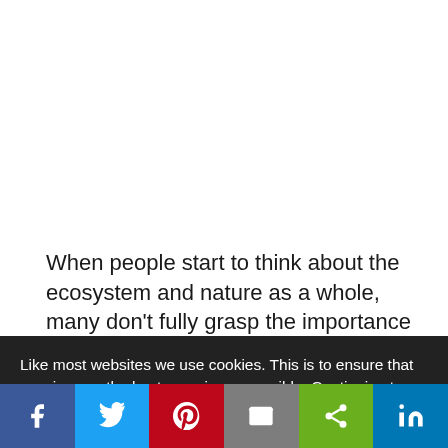When people start to think about the ecosystem and nature as a whole, many don't fully grasp the importance of relying
Like most websites we use cookies. This is to ensure that we give you the best experience possible. Continuing to use CABI Blog means you agree to our use of cookies. If you would like to, you can learn more about the cookies we use here.
[Figure (other): Social share bar with Facebook, Twitter, Pinterest, Email, Share, and LinkedIn buttons]